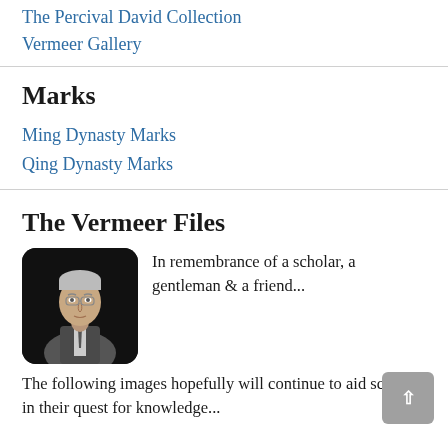The Percival David Collection
Vermeer Gallery
Marks
Ming Dynasty Marks
Qing Dynasty Marks
The Vermeer Files
[Figure (photo): Black and white portrait photo of a man in a suit and tie, with a dark background.]
In remembrance of a scholar, a gentleman & a friend...
The following images hopefully will continue to aid scholars in their quest for knowledge...